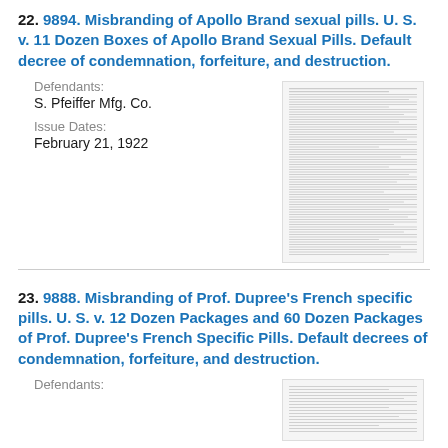22. 9894. Misbranding of Apollo Brand sexual pills. U. S. v. 11 Dozen Boxes of Apollo Brand Sexual Pills. Default decree of condemnation, forfeiture, and destruction.
Defendants: S. Pfeiffer Mfg. Co.
Issue Dates: February 21, 1922
[Figure (other): Thumbnail image of a scanned legal document page with dense text]
23. 9888. Misbranding of Prof. Dupree's French specific pills. U. S. v. 12 Dozen Packages and 60 Dozen Packages of Prof. Dupree's French Specific Pills. Default decrees of condemnation, forfeiture, and destruction.
Defendants:
[Figure (other): Thumbnail image of a scanned legal document page with dense text]